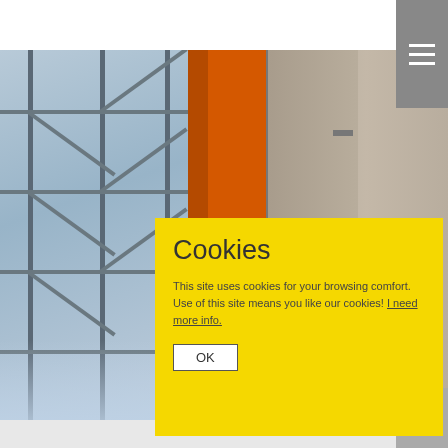[Figure (photo): Construction scaffolding with metal cross-braced frames on the left, a large orange vertical pillar/column in the center, and a concrete/stone wall on the right. The scene appears to be a building under construction or renovation.]
Cookies
This site uses cookies for your browsing comfort. Use of this site means you like our cookies! I need more info.
OK